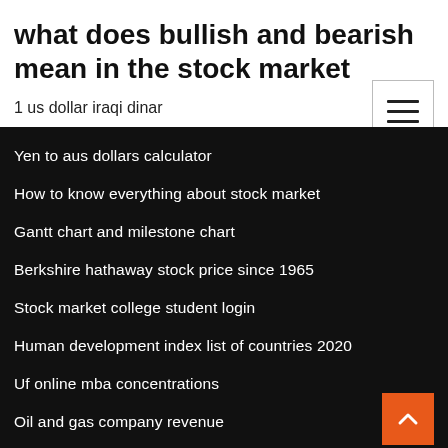what does bullish and bearish mean in the stock market
1 us dollar iraqi dinar
Yen to aus dollars calculator
How to know everything about stock market
Gantt chart and milestone chart
Berkshire hathaway stock price since 1965
Stock market college student login
Human development index list of countries 2020
Uf online mba concentrations
Oil and gas company revenue